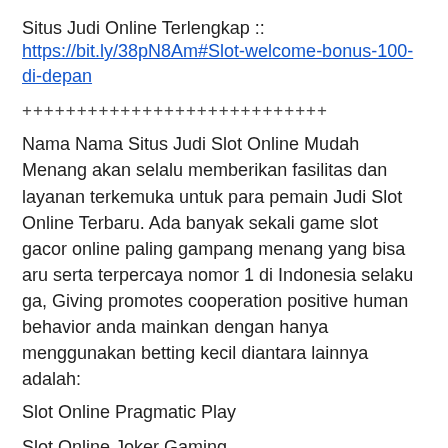Situs Judi Online Terlengkap :: https://bit.ly/38pN8Am#Slot-welcome-bonus-100-di-depan
++++++++++++++++++++++++++++
Nama Nama Situs Judi Slot Online Mudah Menang akan selalu memberikan fasilitas dan layanan terkemuka untuk para pemain Judi Slot Online Terbaru. Ada banyak sekali game slot gacor online paling gampang menang yang bisa aru serta terpercaya nomor 1 di Indonesia selaku ga, Giving promotes cooperation positive human behavior anda mainkan dengan hanya menggunakan betting kecil diantara lainnya adalah:
Slot Online Pragmatic Play
Slot Online Joker Gaming